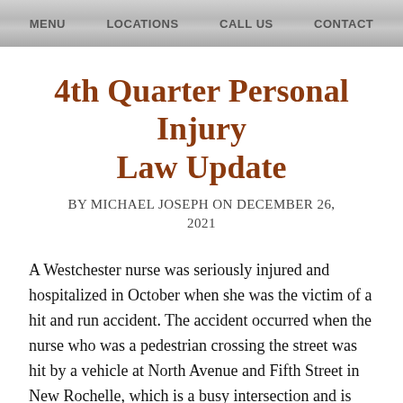MENU   LOCATIONS   CALL US   CONTACT
4th Quarter Personal Injury Law Update
BY MICHAEL JOSEPH ON DECEMBER 26, 2021
A Westchester nurse was seriously injured and hospitalized in October when she was the victim of a hit and run accident. The accident occurred when the nurse who was a pedestrian crossing the street was hit by a vehicle at North Avenue and Fifth Street in New Rochelle, which is a busy intersection and is well-known for former the New Rochelle...